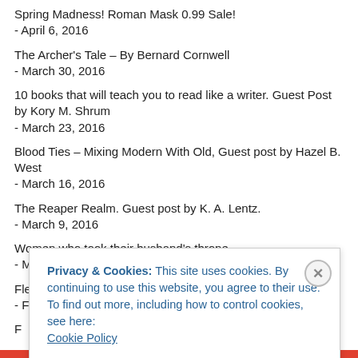Spring Madness! Roman Mask 0.99 Sale!
- April 6, 2016
The Archer's Tale – By Bernard Cornwell
- March 30, 2016
10 books that will teach you to read like a writer. Guest Post by Kory M. Shrum
- March 23, 2016
Blood Ties – Mixing Modern With Old, Guest post by Hazel B. West
- March 16, 2016
The Reaper Realm. Guest post by K. A. Lentz.
- March 9, 2016
Women who took their husband's throne…
- March 2, 2016
Flesh and Spirit, Breath and Bone, by Carol Berg.
- February 24, 2016
F[partially visible]
Privacy & Cookies: This site uses cookies. By continuing to use this website, you agree to their use.
To find out more, including how to control cookies, see here:
Cookie Policy
Close and accept